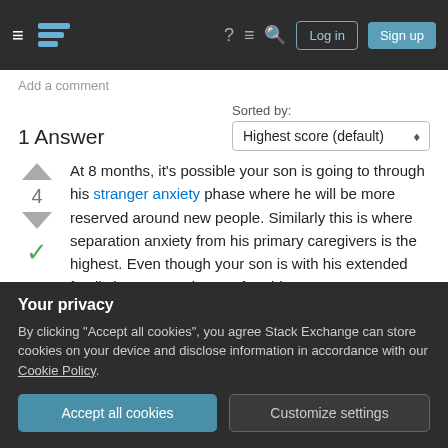Stack Exchange navigation bar with hamburger menu, logo, help, chat, search icons, Log in and Sign up buttons
Add a comment
1 Answer
Sorted by: Highest score (default)
At 8 months, it's possible your son is going to through his stranger anxiety phase where he will be more reserved around new people. Similarly this is where separation anxiety from his primary caregivers is the highest. Even though your son is with his extended family he may not be comfortable
Your privacy
By clicking "Accept all cookies", you agree Stack Exchange can store cookies on your device and disclose information in accordance with our Cookie Policy.
Accept all cookies   Customize settings